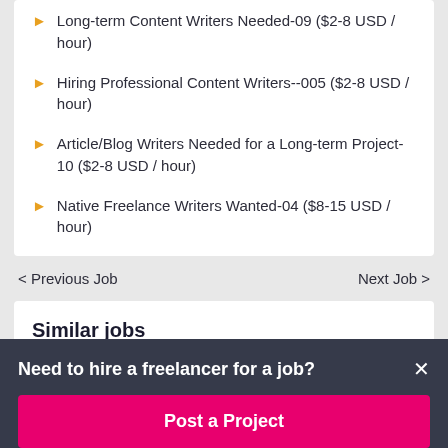Long-term Content Writers Needed-09 ($2-8 USD / hour)
Hiring Professional Content Writers--005 ($2-8 USD / hour)
Article/Blog Writers Needed for a Long-term Project-10 ($2-8 USD / hour)
Native Freelance Writers Wanted-04 ($8-15 USD / hour)
< Previous Job
Next Job >
Similar jobs
Need to hire a freelancer for a job?
Post a Project